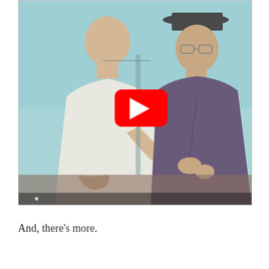[Figure (screenshot): A YouTube video thumbnail showing two men at a table in conversation. One man on the left wears a white shirt and appears to be speaking; the other on the right wears a hat and darker clothing. A red YouTube play button overlay is centered on the image.]
And, there's more.